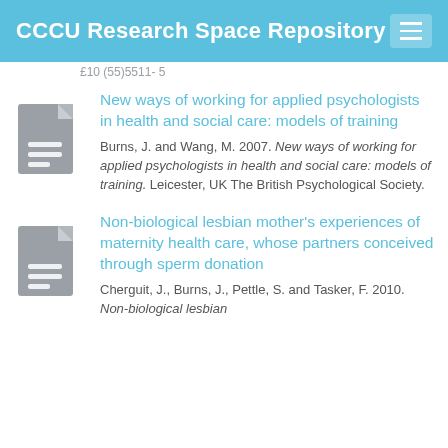CCCU Research Space Repository
£10 (55)5511- 5
New ways of working for applied psychologists in health and social care: models of training
Burns, J. and Wang, M. 2007. New ways of working for applied psychologists in health and social care: models of training. Leicester, UK The British Psychological Society.
Non-biological lesbian mother's experiences of maternity health care, whose partners conceived through sperm donation
Cherguit, J., Burns, J., Pettle, S. and Tasker, F. 2010. Non-biological lesbian